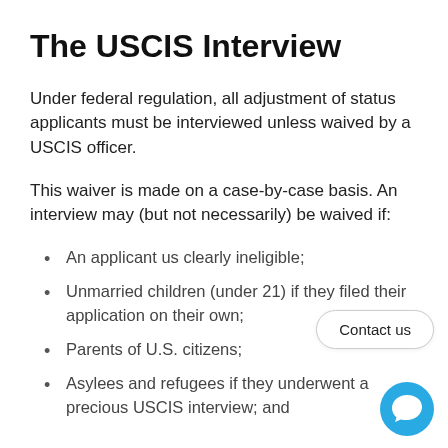The USCIS Interview
Under federal regulation, all adjustment of status applicants must be interviewed unless waived by a USCIS officer.
This waiver is made on a case-by-case basis. An interview may (but not necessarily) be waived if:
An applicant us clearly ineligible;
Unmarried children (under 21) if they filed their application on their own;
Parents of U.S. citizens;
Asylees and refugees if they underwent a precious USCIS interview; and